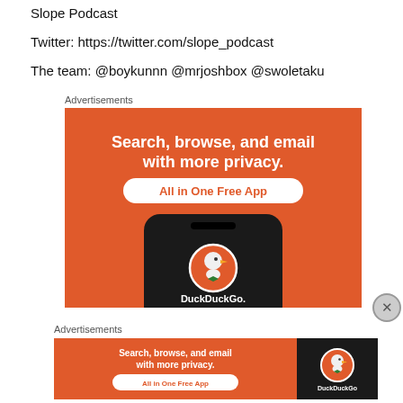Slope Podcast
Twitter: https://twitter.com/slope_podcast
The team: @boykunnn @mrjoshbox @swoletaku
Advertisements
[Figure (illustration): DuckDuckGo advertisement banner: orange background with white bold text 'Search, browse, and email with more privacy.' and a white pill button 'All in One Free App'. Shows a phone with DuckDuckGo logo and name.]
Advertisements
[Figure (illustration): DuckDuckGo small advertisement banner: orange background with text 'Search, browse, and email with more privacy.' and 'All in One Free App' button, plus DuckDuckGo logo on dark background on the right.]